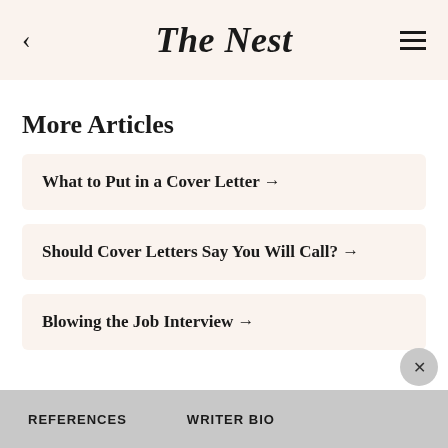The Nest
More Articles
What to Put in a Cover Letter →
Should Cover Letters Say You Will Call? →
Blowing the Job Interview →
REFERENCES    WRITER BIO